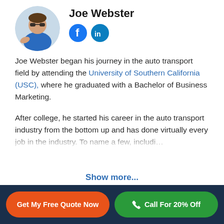[Figure (photo): Circular avatar photo of Joe Webster wearing a blue shirt]
Joe Webster
[Figure (other): Facebook and LinkedIn social media icons]
Joe Webster began his journey in the auto transport field by attending the University of Southern California (USC), where he graduated with a Bachelor of Business Marketing.
After college, he started his career in the auto transport industry from the bottom up and has done virtually every job in the industry. To name a few, including
Show more...
Get My Free Quote Now
Call For 20% Off